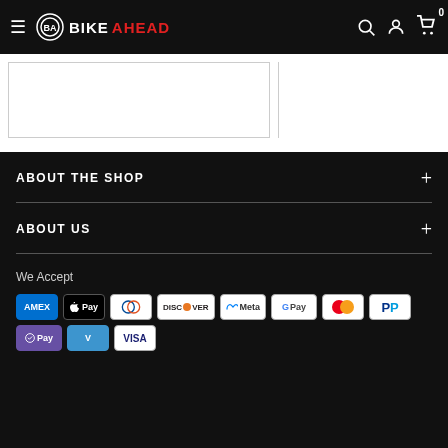BikeAhead - navigation header with hamburger menu, logo, search, account, and cart icons
[Figure (screenshot): Partial product content area with white boxes]
ABOUT THE SHOP
ABOUT US
We Accept
[Figure (infographic): Payment method icons: American Express, Apple Pay, Diners Club, Discover, Meta Pay, Google Pay, Mastercard, PayPal, Shop Pay, Venmo, Visa]